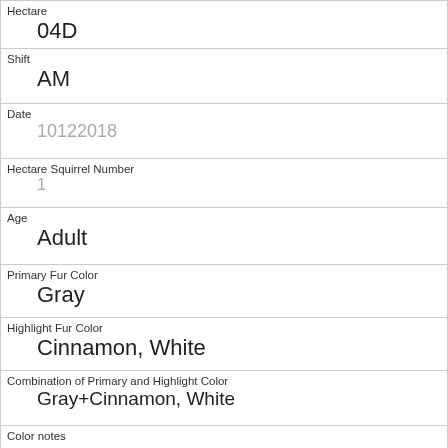| Hectare | 04D |
| Shift | AM |
| Date | 10122018 |
| Hectare Squirrel Number | 1 |
| Age | Adult |
| Primary Fur Color | Gray |
| Highlight Fur Color | Cinnamon, White |
| Combination of Primary and Highlight Color | Gray+Cinnamon, White |
| Color notes |  |
| Location | Ground Plane |
| Above Ground Sighter Measurement |  |